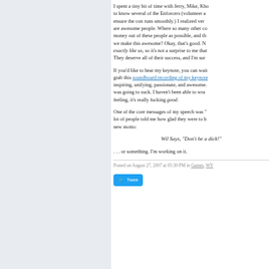I spent a tiny bit of time with Jerry, Mike, Kho... to know several of the Enforcers (volunteer a... ensure the con runs smoothly.) I realized ver... are awesome people. Where so many other co... money out of these people as possible, and th... we make this awesome? Okay, that's good. N... exactly like us, so it's not a surprise to me tha... They deserve all of their success, and I'm sur...
If you'd like to hear my keynote, you can wai... grab this soundboard recording of my keynote inspiring, unifying, passionate, and awesome.... was going to suck. I haven't been able to wra... feeling, it's really fucking good.
One of the core messages of my speech was "... lot of people told me how glad they were to h... new motto:
Wil Says, "Don't be a dick!"
. . . or something. I'm working on it.
Posted on August 27, 2007 at 05:39 PM in Games, WY